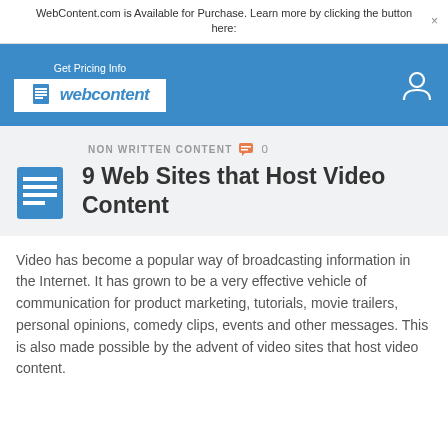WebContent.com is Available for Purchase. Learn more by clicking the button here:
[Figure (screenshot): WebContent.com website header with blue navigation bar, logo, 'Get Pricing Info' button, and user icon]
NON WRITTEN CONTENT  0
9 Web Sites that Host Video Content
Video has become a popular way of broadcasting information in the Internet. It has grown to be a very effective vehicle of communication for product marketing, tutorials, movie trailers, personal opinions, comedy clips, events and other messages. This is also made possible by the advent of video sites that host video content.